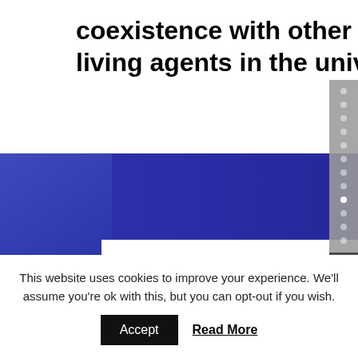coexistence with other living and non-living agents in the universe
[Figure (logo): Centre for Creative Practices logo — colourful dotted figure on left, grey bold text reading CENTRE FOR CREATIVE PRACTICES on right, displayed on a white card over a blue/purple banner background with a blurred person visible on the left.]
This website uses cookies to improve your experience. We'll assume you're ok with this, but you can opt-out if you wish.
Accept   Read More